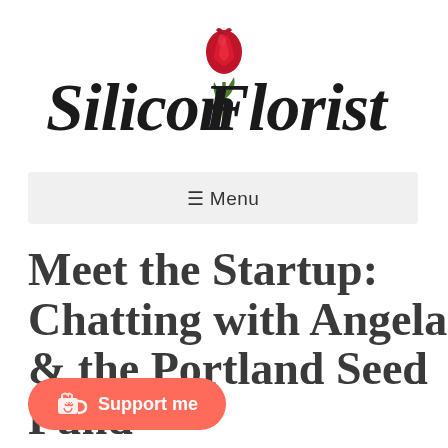[Figure (logo): Silicon Florist logo with red rose and cursive script text]
☰ Menu
Meet the Startup: Chatting with Angela & the Portland Seed Fund